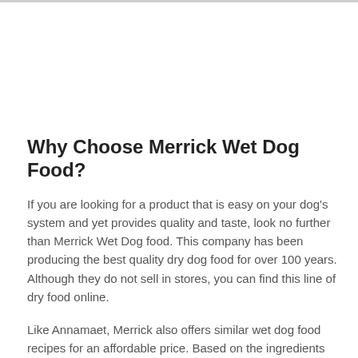Why Choose Merrick Wet Dog Food?
If you are looking for a product that is easy on your dog's system and yet provides quality and taste, look no further than Merrick Wet Dog food. This company has been producing the best quality dry dog food for over 100 years. Although they do not sell in stores, you can find this line of dry food online.
Like Annamaet, Merrick also offers similar wet dog food recipes for an affordable price. Based on the ingredients that